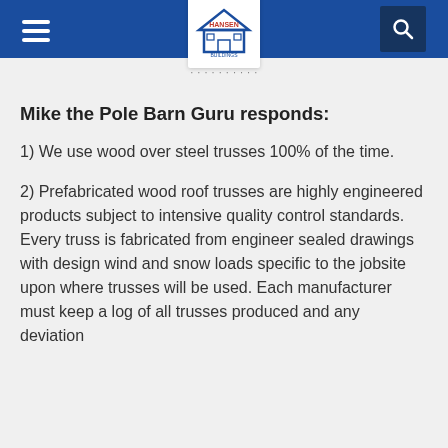Hansen Buildings — navigation header with logo, hamburger menu, and search icon
Mike the Pole Barn Guru responds:
1) We use wood over steel trusses 100% of the time.
2) Prefabricated wood roof trusses are highly engineered products subject to intensive quality control standards. Every truss is fabricated from engineer sealed drawings with design wind and snow loads specific to the jobsite upon where trusses will be used. Each manufacturer must keep a log of all trusses produced and any deviation